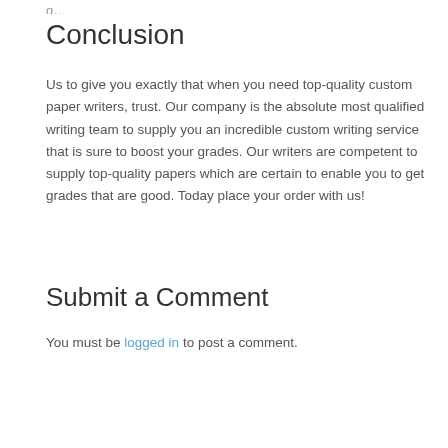…g…
Conclusion
Us to give you exactly that when you need top-quality custom paper writers, trust. Our company is the absolute most qualified writing team to supply you an incredible custom writing service that is sure to boost your grades. Our writers are competent to supply top-quality papers which are certain to enable you to get grades that are good. Today place your order with us!
Submit a Comment
You must be logged in to post a comment.